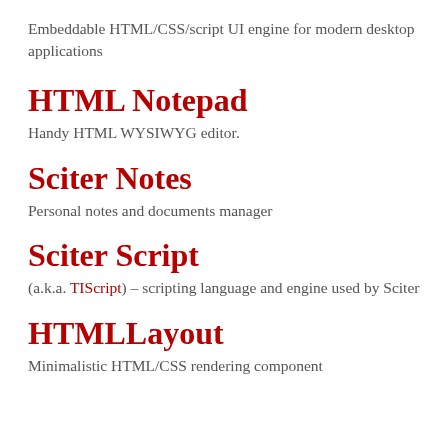Embeddable HTML/CSS/script UI engine for modern desktop applications
HTML Notepad
Handy HTML WYSIWYG editor.
Sciter Notes
Personal notes and documents manager
Sciter Script
(a.k.a. TIScript) – scripting language and engine used by Sciter
HTMLLayout
Minimalistic HTML/CSS rendering component